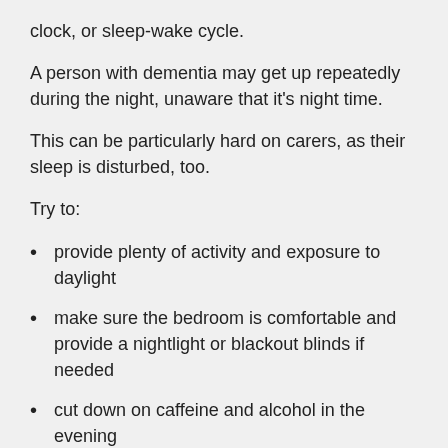clock, or sleep-wake cycle.
A person with dementia may get up repeatedly during the night, unaware that it's night time.
This can be particularly hard on carers, as their sleep is disturbed, too.
Try to:
provide plenty of activity and exposure to daylight
make sure the bedroom is comfortable and provide a nightlight or blackout blinds if needed
cut down on caffeine and alcohol in the evening
Dementia makes people feel insecure and anxious. They may "shadow" their partner or carer as they need constant reassurance they're not alone and they're safe.
They may also ask for people who died many years ago,